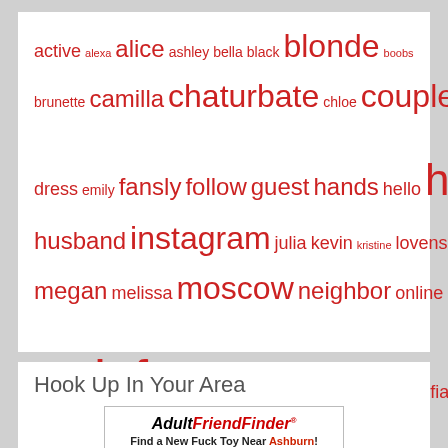[Figure (other): Word cloud with terms in varying red font sizes: active, alexa, alice, ashley, bella, black, blonde, boobs, brunette, camilla, chaturbate, chloe, couple, daddy, dress, emily, fansly, follow, guest, hands, hello, https, husband, instagram, julia, kevin, kristine, lovense, maria, megan, melissa, moscow, neighbor, online, onlyfans, pleasure, private, sofia, start, stream, twitter, vibrations, videos, welcome, years]
Hook Up In Your Area
[Figure (other): AdultFriendFinder advertisement banner with text 'Find a New Fuck Toy Near Ashburn!' and 'Join for Free!' button]